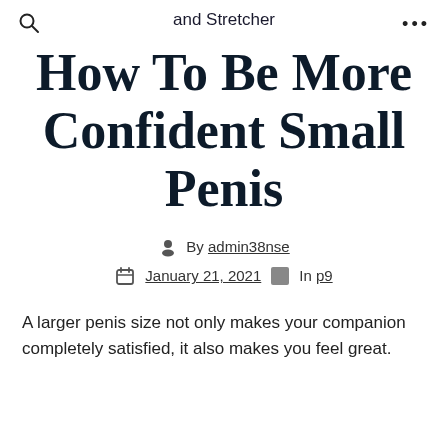and Stretcher
How To Be More Confident Small Penis
By admin38nse
January 21, 2021  In p9
A larger penis size not only makes your companion completely satisfied, it also makes you feel great.